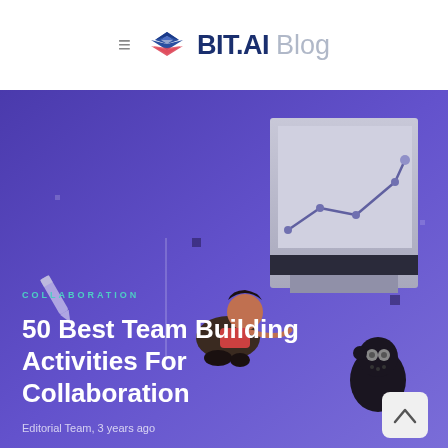≡ BIT.AI Blog
[Figure (illustration): Hero banner with purple gradient background showing an illustration of a person sitting, a computer monitor with a line chart, a pencil icon, a monster figure, and decorative squares.]
COLLABORATION
50 Best Team Building Activities For Collaboration
Editorial Team, 3 years ago